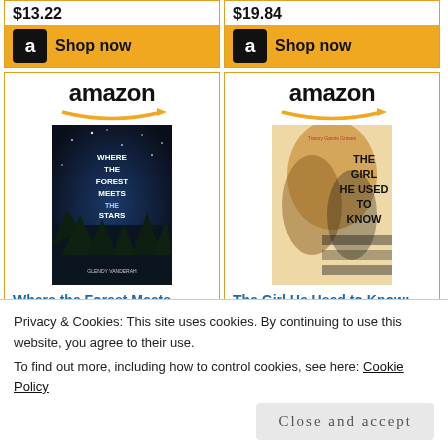$13.22
[Figure (screenshot): Amazon Shop now button (golden) with Amazon logo icon]
$19.84
[Figure (screenshot): Amazon Shop now button (golden) with Amazon logo icon]
[Figure (screenshot): Amazon product card: Where the Forest Meets... $4.99 with Shop now button]
[Figure (screenshot): Amazon product card: The Girl He Used to Know:... $9.99 with Shop now button]
Privacy & Cookies: This site uses cookies. By continuing to use this website, you agree to their use.
To find out more, including how to control cookies, see here: Cookie Policy
Close and accept